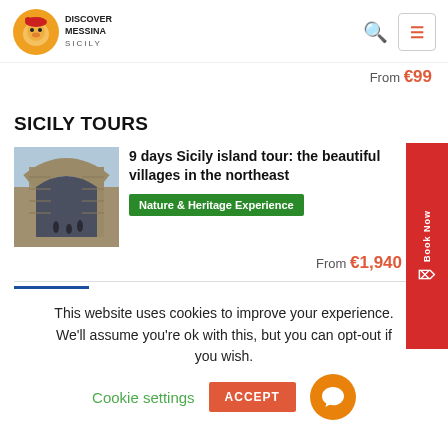Discover Messina Sicily
From €99
SICILY TOURS
[Figure (photo): Photo of an ancient stone arch gateway in a Sicilian village]
9 days Sicily island tour: the beautiful villages in the northeast
Nature & Heritage Experience
From €1,940
This website uses cookies to improve your experience. We'll assume you're ok with this, but you can opt-out if you wish.
Cookie settings
ACCEPT